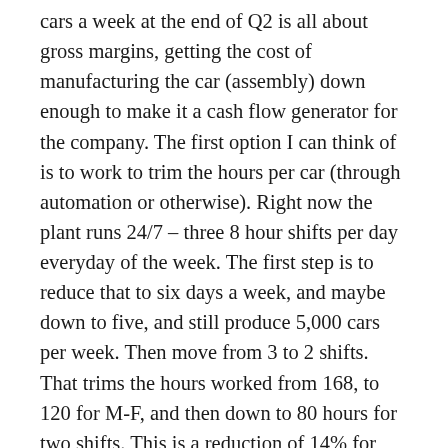cars a week at the end of Q2 is all about gross margins, getting the cost of manufacturing the car (assembly) down enough to make it a cash flow generator for the company. The first option I can think of is to work to trim the hours per car (through automation or otherwise). Right now the plant runs 24/7 – three 8 hour shifts per day everyday of the week. The first step is to reduce that to six days a week, and maybe down to five, and still produce 5,000 cars per week. Then move from 3 to 2 shifts. That trims the hours worked from 168, to 120 for M-F, and then down to 80 hours for two shifts. This is a reduction of 14% for each day they trim, and a total of 55% for 2x8x5, but is probably an even larger impact on labor costs due to overtime, shift premiums, etc. that Tesla is probably incurring with the 24/7 operations. This is easily six months of effort (Q3, Q4), if not longer but the gains are nearly immediate and flow to the bottom line quickly.